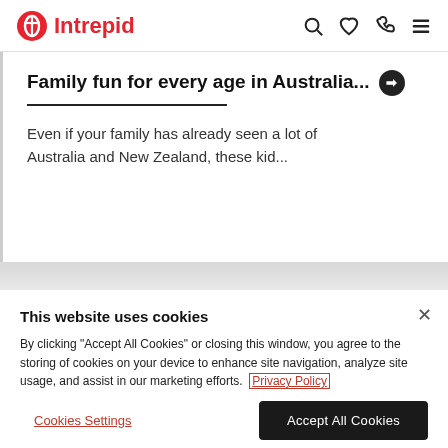Intrepid
Family fun for every age in Australia...
Even if your family has already seen a lot of Australia and New Zealand, these kid...
This website uses cookies
By clicking "Accept All Cookies" or closing this window, you agree to the storing of cookies on your device to enhance site navigation, analyze site usage, and assist in our marketing efforts. Privacy Policy
Cookies Settings
Accept All Cookies